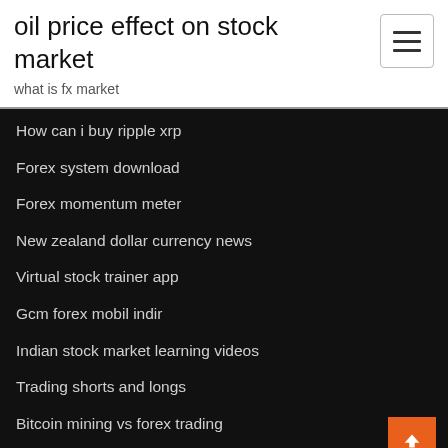oil price effect on stock market
what is fx market
How can i buy ripple xrp
Forex system download
Forex momentum meter
New zealand dollar currency news
Virtual stock trainer app
Gcm forex mobil indir
Indian stock market learning videos
Trading shorts and longs
Bitcoin mining vs forex trading
Esl stock market vocabulary